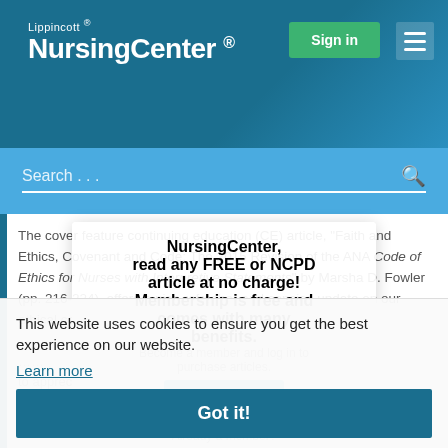Lippincott® NursingCenter®
Search ...
The cover feature continuing education (CE) article, "Faith and Ethics, Covenant and Code: The 2015 Revision of the ANA Code of Ethics for Nurses with Interpretive Statements" by Marsha D. Fowler (pp. 216-224), offers a nice refresher and concise update on our ethical code for professional practice
[Figure (screenshot): NursingCenter modal overlay prompting user to register or sign in to read free or NCPD articles. Contains: title 'NursingCenter, read any FREE or NCPD article at no charge!', subtitle 'Membership is free and comes with many benefits.', member login prompt, Register button, Already a member? Sign In link.]
This website uses cookies to ensure you get the best experience on our website.
Learn more
Got it!